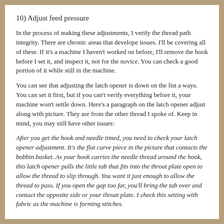10) Adjust feed pressure
In the process of making these adjustments, I verify the thread path integrity. There are chronic areas that develope issues. I'll be covering all of these. If it's a machine I haven't worked on before, I'll remove the hook before I set it, and inspect it, not for the novice. You can check a good portion of it while still in the machine.
You can see that adjusting the latch opener is down on the list a ways. You can set it first, but if you can't verify everything before it, your machine won't settle down. Here's a paragraph on the latch opener adjust along with picture. They are from the other thread I spoke of. Keep in mind, you may still have other issues:
After you get the hook and needle timed, you need to check your latch opener adjustment. It's the flat curve piece in the picture that contacts the bobbin basket. As your hook carries the needle thread around the hook, this latch opener pulls the little tab that fits into the throat plate open to allow the thread to slip through. You want it just enough to allow the thread to pass. If you open the gap too far, you'll bring the tab over and contact the opposite side or your throat plate. I check this setting with fabric as the machine is forming stitches.